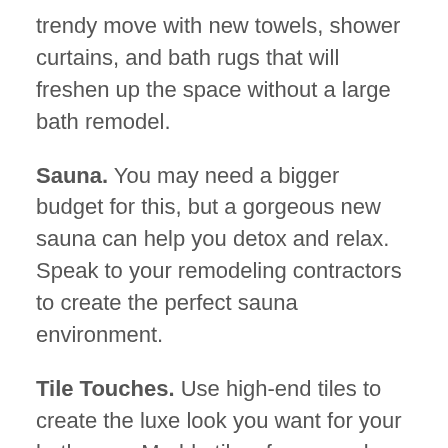trendy move with new towels, shower curtains, and bath rugs that will freshen up the space without a large bath remodel.
Sauna. You may need a bigger budget for this, but a gorgeous new sauna can help you detox and relax. Speak to your remodeling contractors to create the perfect sauna environment.
Tile Touches. Use high-end tiles to create the luxe look you want for your bathroom. Marble tiles, for example, add stunning sophistication to your bath remodel.
Expand Your Shower. Cramped tub and shower combinations, or standalone showers don't cut it for a luxury bathroom remodel. Enlarge your shower while adding glass doors and multiple